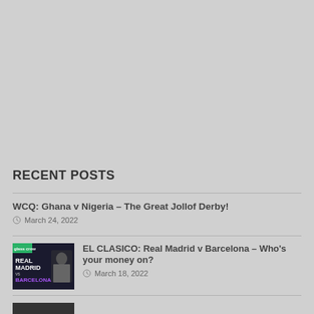RECENT POSTS
WCQ: Ghana v Nigeria – The Great Jollof Derby!
March 24, 2022
EL CLASICO: Real Madrid v Barcelona – Who's your money on?
March 18, 2022
(partial item visible at bottom)